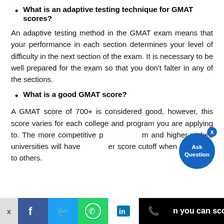What is an adaptive testing technique for GMAT scores?
An adaptive testing method in the GMAT exam means that your performance in each section determines your level of difficulty in the next section of the exam. It is necessary to be well prepared for the exam so that you don't falter in any of the sections.
What is a good GMAT score?
A GMAT score of 700+ is considered good, however, this score varies for each college and program you are applying to. The more competitive programs and higher-ranked universities will have a higher score cutoff when compared to others.
n you can score on